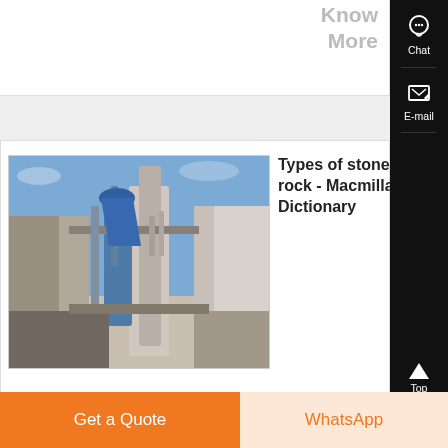Know
More
[Figure (photo): Industrial facility with machinery, silos and equipment under a blue sky]
Types of stone or rock - Macmillan Dictionary
hot liquid rock inside the Earth marble , The other types of rock are igneous rock and , Free
Get a Quote
WhatsApp